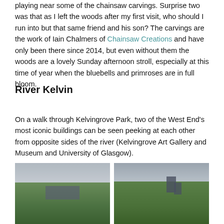playing near some of the chainsaw carvings. Surprise two was that as I left the woods after my first visit, who should I run into but that same friend and his son? The carvings are the work of Iain Chalmers of Chainsaw Creations and have only been there since 2014, but even without them the woods are a lovely Sunday afternoon stroll, especially at this time of year when the bluebells and primroses are in full bloom.
River Kelvin
On a walk through Kelvingrove Park, two of the West End's most iconic buildings can be seen peeking at each other from opposite sides of the river (Kelvingrove Art Gallery and Museum and University of Glasgow).
[Figure (photo): Photograph showing Kelvingrove Art Gallery visible through green trees with overcast sky]
[Figure (photo): Photograph showing University of Glasgow tower visible through lush green trees with overcast sky]